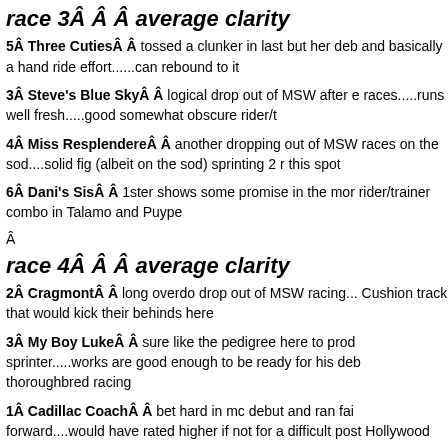race 3Â Â Â  average clarity
5Â  Three CutiesÂ Â  tossed a clunker in last but her deb and basically a hand ride effort......can rebound to it
3Â  Steve's Blue SkyÂ Â  logical drop out of MSW after e races.....runs well fresh.....good somewhat obscure rider/t
4Â  Miss ResplendereÂ Â  another dropping out of MSW races on the sod....solid fig (albeit on the sod) sprinting 2 r this spot
6Â  Dani's SisÂ Â  1ster shows some promise in the mor rider/trainer combo in Talamo and Puype
Â
race 4Â Â Â  average clarity
2Â  CragmontÂ Â  long overdo drop out of MSW racing... Cushion track that would kick their behinds here
3Â  My Boy LukeÂ Â  sure like the pedigree here to prod sprinter.....works are good enough to be ready for his deb thoroughbred racing
1Â  Cadillac CoachÂ Â  bet hard in mc debut and ran fai forward....would have rated higher if not for a difficult post Hollywood